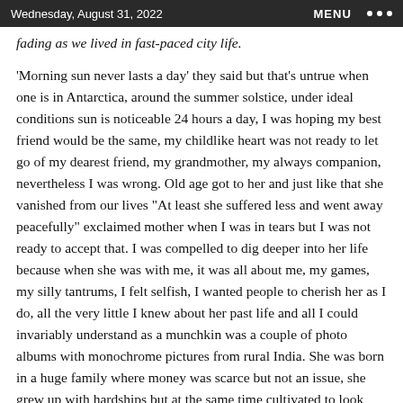Wednesday, August 31, 2022   MENU ●●●
fading as we lived in fast-paced city life.
'Morning sun never lasts a day' they said but that's untrue when one is in Antarctica, around the summer solstice, under ideal conditions sun is noticeable 24 hours a day, I was hoping my best friend would be the same, my childlike heart was not ready to let go of my dearest friend, my grandmother, my always companion, nevertheless I was wrong. Old age got to her and just like that she vanished from our lives "At least she suffered less and went away peacefully" exclaimed mother when I was in tears but I was not ready to accept that. I was compelled to dig deeper into her life because when she was with me, it was all about me, my games, my silly tantrums, I felt selfish, I wanted people to cherish her as I do, all the very little I knew about her past life and all I could invariably understand as a munchkin was a couple of photo albums with monochrome pictures from rural India. She was born in a huge family where money was scarce but not an issue, she grew up with hardships but at the same time cultivated to look into the eye of an adversary with a smile. That made her the